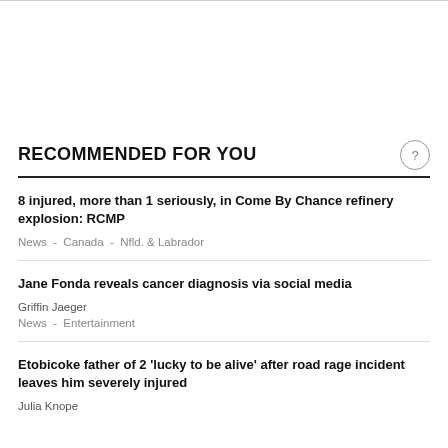RECOMMENDED FOR YOU
8 injured, more than 1 seriously, in Come By Chance refinery explosion: RCMP
News  -  Canada  -  Nfld. & Labrador
Jane Fonda reveals cancer diagnosis via social media
Griffin Jaeger
News  -  Entertainment
Etobicoke father of 2 'lucky to be alive' after road rage incident leaves him severely injured
Julia Knope